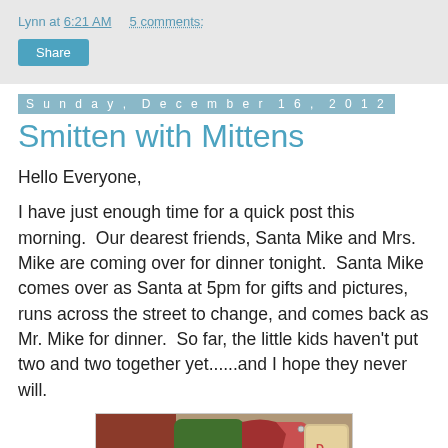Lynn at 6:21 AM    5 comments:
Share
Sunday, December 16, 2012
Smitten with Mittens
Hello Everyone,
I have just enough time for a quick post this morning.  Our dearest friends, Santa Mike and Mrs. Mike are coming over for dinner tonight.  Santa Mike comes over as Santa at 5pm for gifts and pictures, runs across the street to change, and comes back as Mr. Mike for dinner.  So far, the little kids haven't put two and two together yet......and I hope they never will.
[Figure (photo): Photo of fabric mittens with holiday quilted patterns in red, green, and plaid, with a gift tag.]